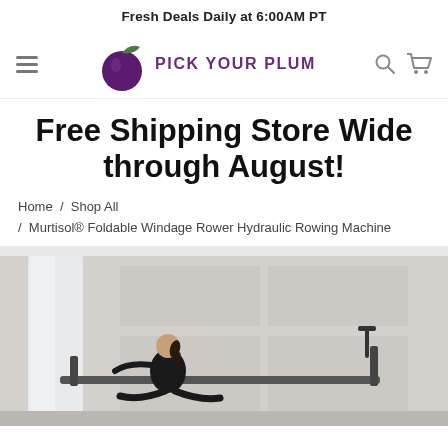Fresh Deals Daily at 6:00AM PT
[Figure (logo): Pick Your Plum logo with purple plum icon and text 'PICK YOUR PLUM']
Free Shipping Store Wide through August!
Home / Shop All / Murtisol® Foldable Windage Rower Hydraulic Rowing Machine
[Figure (photo): Woman using a hydraulic rowing machine in a light grey room]